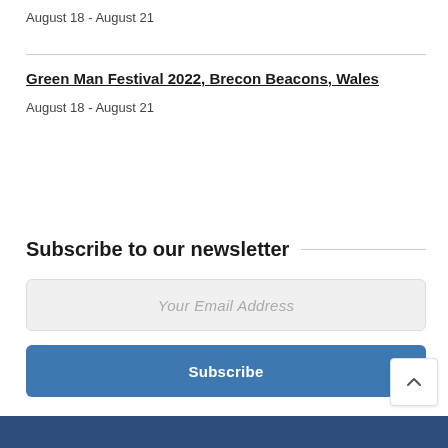August 18 - August 21
Green Man Festival 2022, Brecon Beacons, Wales
August 18 - August 21
Subscribe to our newsletter
Your Email Address
Subscribe